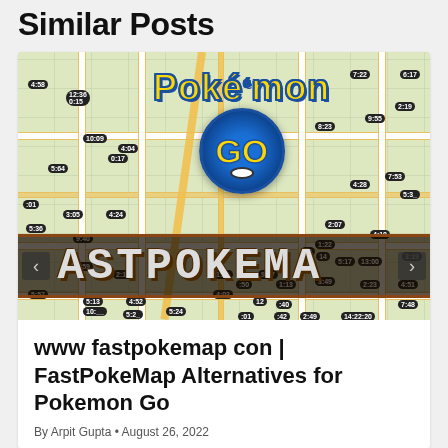Similar Posts
[Figure (screenshot): Screenshot of FastPokeMap website showing a Pokémon GO map with various Pokémon icons, timers/badges, the Pokémon GO logo, and the FastPokeMap banner text across the bottom.]
www fastpokemap con | FastPokeMap Alternatives for Pokemon Go
By Arpit Gupta • August 26, 2022